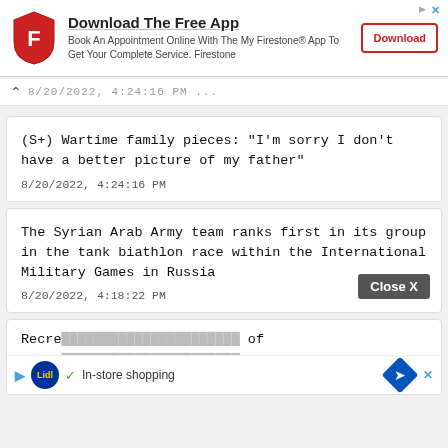[Figure (screenshot): Firestone app advertisement banner with logo, title 'Download The Free App', subtitle text, and Download button]
8/20/2022, 4:24:16 PM (collapsed bar with caret)
(S+) Wartime family pieces: "I'm sorry I don't have a better picture of my father"
8/20/2022, 4:24:16 PM
The Syrian Arab Army team ranks first in its group in the tank biathlon race within the International Military Games in Russia
8/20/2022, 4:18:22 PM
[Figure (screenshot): Lidl in-store shopping advertisement overlay with Close X button]